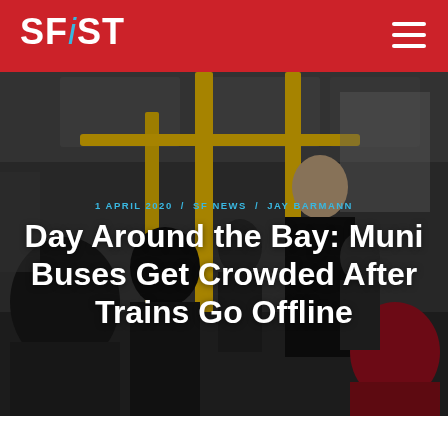SFiST
[Figure (photo): Interior of a crowded Muni bus with yellow handrails/poles, passengers standing, viewed from the rear of the bus]
1 APRIL 2020  /  SF NEWS  /  JAY BARMANN
Day Around the Bay: Muni Buses Get Crowded After Trains Go Offline